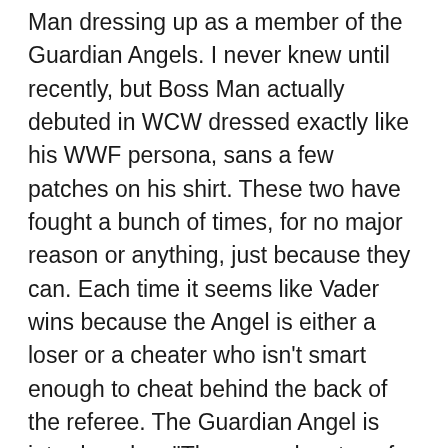Man dressing up as a member of the Guardian Angels. I never knew until recently, but Boss Man actually debuted in WCW dressed exactly like his WWF persona, sans a few patches on his shirt. These two have fought a bunch of times, for no major reason or anything, just because they can. Each time it seems like Vader wins because the Angel is either a loser or a cheater who isn't smart enough to cheat behind the back of the referee. The Guardian Angel is introduced as "The man who stans for law and order"... Okay, even with a completely different gimmick, they're still ripping off the WWF character!!! We see Sting sitting next to Muhammad Ali, chatting away. Vader comes over and screams "Who da' man? You da' man!" at Ali.
For no reason, Guardian Angel takes out Harley Race before the bell. Lockup into the corner, and Angel with a bitch slap. Repeat! Vader with his punk out punches and clubbing blows across the chest. Take that, you Big Boss Bitch! Vader with a pair of short-arm clotheslines, knocking